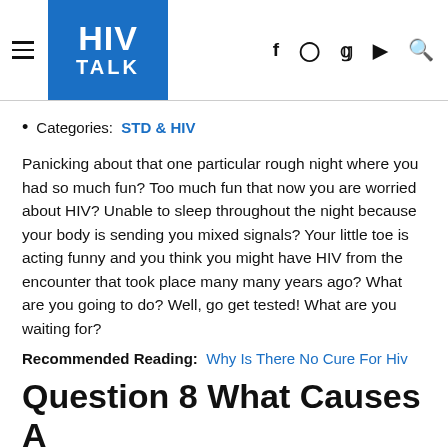HIV TALK
Categories: STD & HIV
Panicking about that one particular rough night where you had so much fun? Too much fun that now you are worried about HIV? Unable to sleep throughout the night because your body is sending you mixed signals? Your little toe is acting funny and you think you might have HIV from the encounter that took place many many years ago? What are you going to do? Well, go get tested! What are you waiting for?
Recommended Reading: Why Is There No Cure For Hiv
Question 8 What Causes A Biological False